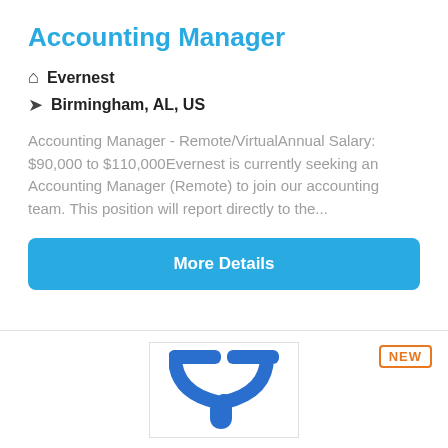Accounting Manager
Evernest
Birmingham, AL, US
Accounting Manager - Remote/VirtualAnnual Salary: $90,000 to $110,000Evernest is currently seeking an Accounting Manager (Remote) to join our accounting team. This position will report directly to the...
More Details
[Figure (logo): Company logo showing a blue Y-shaped fork/tuning fork symbol on white background]
NEW